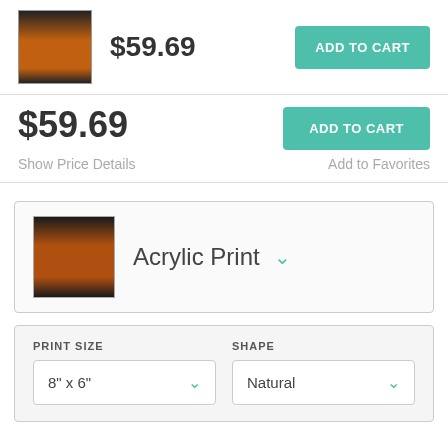[Figure (photo): Thumbnail of basketball court photo from above]
$59.69
ADD TO CART
$59.69
ADD TO CART
Show Price Details
Add to Favorites
[Figure (photo): Acrylic print product thumbnail of basketball court photo]
Acrylic Print
PRINT SIZE
8" x 6"
SHAPE
Natural